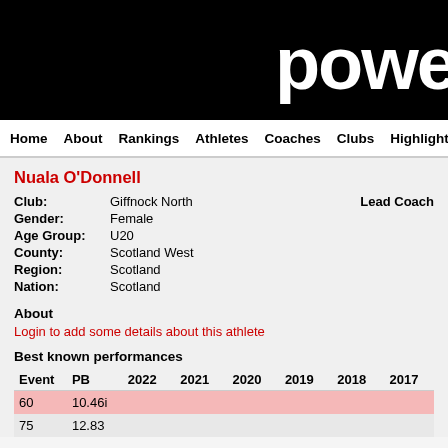powe
Home  About  Rankings  Athletes  Coaches  Clubs  Highlights
Nuala O'Donnell
Club: Giffnock North
Gender: Female
Age Group: U20
County: Scotland West
Region: Scotland
Nation: Scotland
Lead Coach
About
Login to add some details about this athlete
Best known performances
| Event | PB | 2022 | 2021 | 2020 | 2019 | 2018 | 2017 |
| --- | --- | --- | --- | --- | --- | --- | --- |
| 60 | 10.46i |  |  |  |  |  |  |
| 75 | 12.83 |  |  |  |  |  |  |